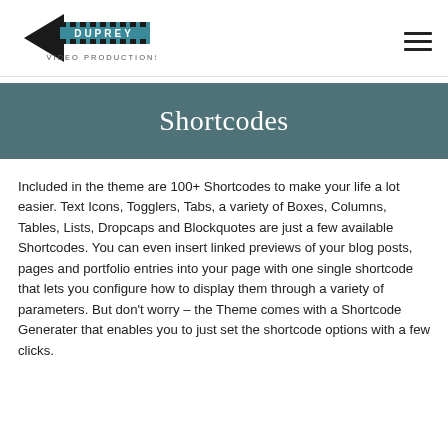DUPREY VIDEO PRODUCTIONS
Shortcodes
Included in the theme are 100+ Shortcodes to make your life a lot easier. Text Icons, Togglers, Tabs, a variety of Boxes, Columns, Tables, Lists, Dropcaps and Blockquotes are just a few available Shortcodes. You can even insert linked previews of your blog posts, pages and portfolio entries into your page with one single shortcode that lets you configure how to display them through a variety of parameters. But don't worry – the Theme comes with a Shortcode Generater that enables you to just set the shortcode options with a few clicks.